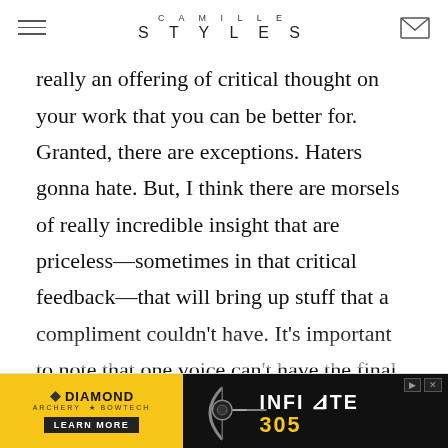CAMILLE STYLES
really an offering of critical thought on your work that you can be better for. Granted, there are exceptions. Haters gonna hate. But, I think there are morsels of really incredible insight that are priceless—sometimes in that critical feedback—that will bring up stuff that a compliment couldn't have. It's important to note that one voice can't have the final say over whether something is good or not. That's why it's so important to have a support system in place—because more than that there will be more out…
[Figure (infographic): Diamond Archery advertisement banner with yellow background on left showing brand logo and LEARN MORE button, and Infinite 305 product image on right with archery bow graphic]